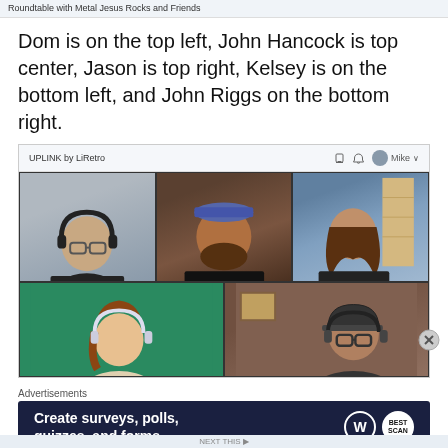Roundtable with Metal Jesus Rocks and Friends
Dom is on the top left, John Hancock is top center, Jason is top right, Kelsey is on the bottom left, and John Riggs on the bottom right.
[Figure (screenshot): Video call interface showing UPLINK by LiRetro with five participants in a grid: Dom (top left, wearing headphones and glasses), John Hancock (top center, wearing UPLINK shirt and hat), Jason (top right, wearing LED-ZELDA shirt), Kelsey (bottom left, on green screen background with headphones), and John Riggs (bottom right, wearing cap and headphones).]
Advertisements
[Figure (screenshot): Advertisement banner: Create surveys, polls, quizzes, and forms. WordPress and Best logo shown.]